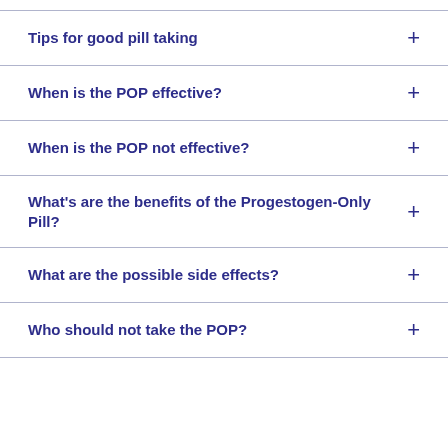Tips for good pill taking
When is the POP effective?
When is the POP not effective?
What's are the benefits of the Progestogen-Only Pill?
What are the possible side effects?
Who should not take the POP?